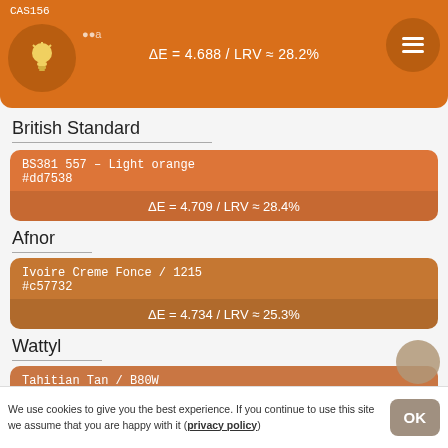[Figure (infographic): Top orange banner with CAS156 label, lightbulb icon circle, delta E and LRV values, and menu icon circle]
British Standard
[Figure (infographic): Color card: BS381 557 - Light orange, #dd7538, ΔE = 4.709 / LRV ≈ 28.4%]
Afnor
[Figure (infographic): Color card: Ivoire Creme Fonce / 1215, #c57732, ΔE = 4.734 / LRV ≈ 25.3%]
Wattyl
[Figure (infographic): Color card: Tahitian Tan / B80W, #c97643, ΔE = 4.777 / LRV ≈ 25.8%]
We use cookies to give you the best experience. If you continue to use this site we assume that you are happy with it (privacy policy)